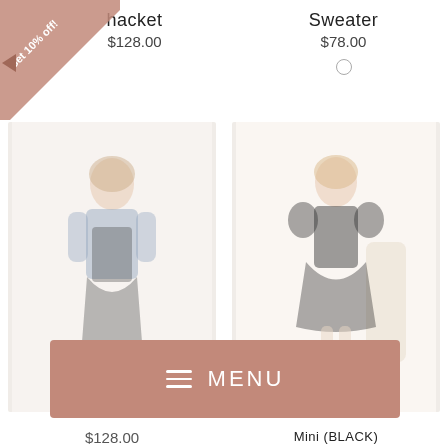Shacket
$128.00
Sweater
$78.00
[Figure (photo): Woman wearing a denim shacket over a black dress with boots, full body shot on white background]
[Figure (photo): Woman wearing a black mini dress with puff sleeves and white boots, full body shot on light background]
MENU
$128.00
Mini (BLACK)